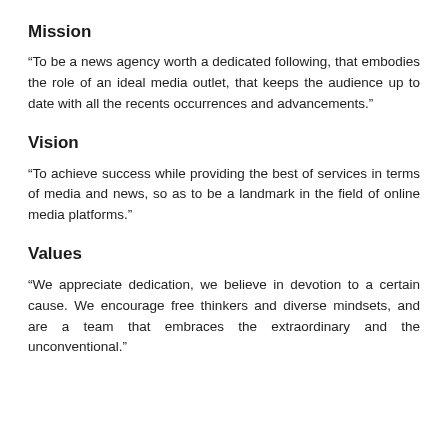Mission
“To be a news agency worth a dedicated following, that embodies the role of an ideal media outlet, that keeps the audience up to date with all the recents occurrences and advancements.”
Vision
“To achieve success while providing the best of services in terms of media and news, so as to be a landmark in the field of online media platforms.”
Values
“We appreciate dedication, we believe in devotion to a certain cause. We encourage free thinkers and diverse mindsets, and are a team that embraces the extraordinary and the unconventional.”